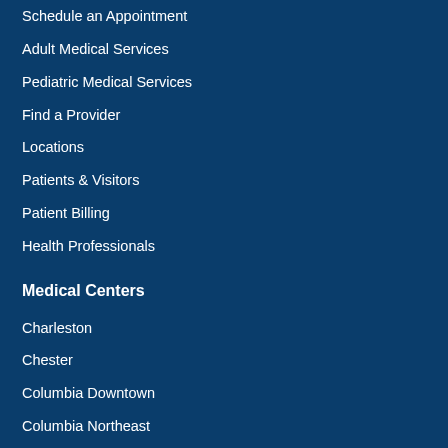Schedule an Appointment
Adult Medical Services
Pediatric Medical Services
Find a Provider
Locations
Patients & Visitors
Patient Billing
Health Professionals
Medical Centers
Charleston
Chester
Columbia Downtown
Columbia Northeast
Fairfield Emergency
Florence
Kershaw
Lancaster